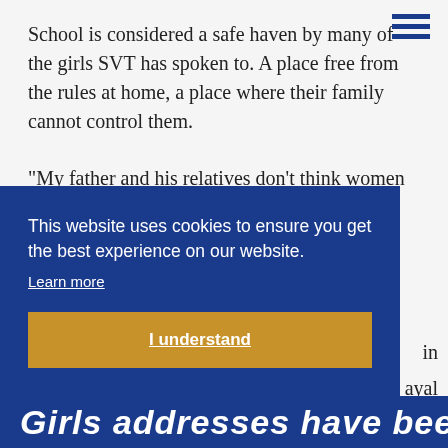School is considered a safe haven by many of the girls SVT has spoken to. A place free from the rules at home, a place where their family cannot control them.
“My father and his relatives don’t think women should be educated,” says Aisha.
Girls who have received help from social services
in
ayal
[Figure (other): Cookie consent banner with blue background. Text: 'This website uses cookies to ensure you get the best experience on our website.' with 'Learn more' underlined link and 'I understand' button in gold/tan color.]
Girls addresses have been